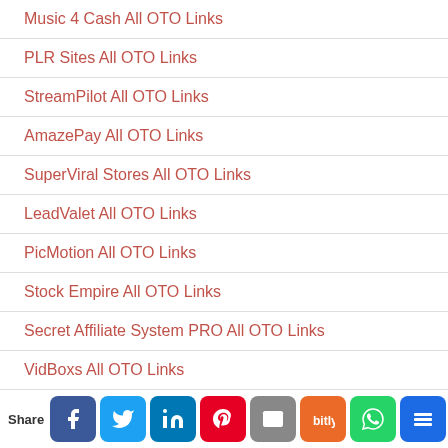Music 4 Cash All OTO Links
PLR Sites All OTO Links
StreamPilot All OTO Links
AmazePay All OTO Links
SuperViral Stores All OTO Links
LeadValet All OTO Links
PicMotion All OTO Links
Stock Empire All OTO Links
Secret Affiliate System PRO All OTO Links
VidBoxs All OTO Links
...fait Sheet All OTO Links (partial)
Share [Facebook] [Twitter] [LinkedIn] [Pinterest] [Email] [Bitly] [WhatsApp] [Buffer] [Evernote] [Other]